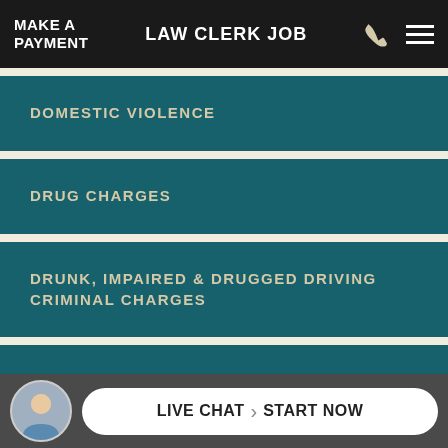MAKE A PAYMENT | LAW CLERK JOB
DOMESTIC VIOLENCE
DRUG CHARGES
DRUNK, IMPAIRED & DRUGGED DRIVING CRIMINAL CHARGES
POSSESSION OF ILLEGAL DRUGS
LIVE CHAT START NOW